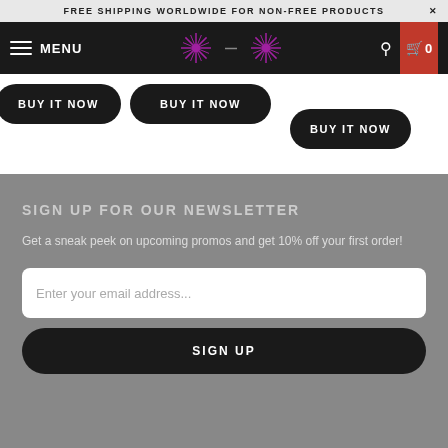FREE SHIPPING WORLDWIDE FOR NON-FREE PRODUCTS
[Figure (screenshot): Navigation bar with hamburger menu, MENU text, two purple mandala/snowflake logos, search icon, and red cart icon showing 0 items]
BUY IT NOW
BUY IT NOW
BUY IT NOW
SIGN UP FOR OUR NEWSLETTER
Get a sneak peek on upcoming promos and get 10% off your first order!
Enter your email address...
SIGN UP